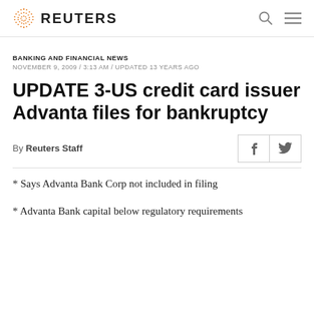REUTERS
BANKING AND FINANCIAL NEWS
NOVEMBER 9, 2009 / 3:13 AM / UPDATED 13 YEARS AGO
UPDATE 3-US credit card issuer Advanta files for bankruptcy
By Reuters Staff
* Says Advanta Bank Corp not included in filing
* Advanta Bank capital below regulatory requirements